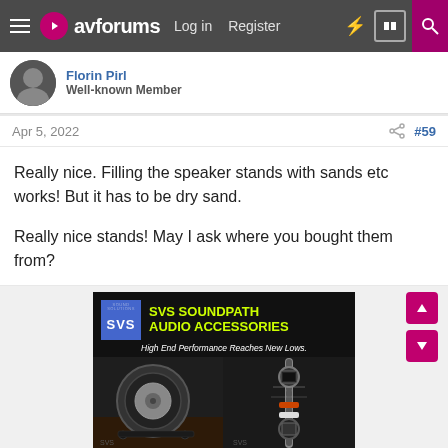avforums | Log in | Register
Well-known Member
Apr 5, 2022 #59
Really nice. Filling the speaker stands with sands etc works! But it has to be dry sand.

Really nice stands! May I ask where you bought them from?
[Figure (photo): SVS SoundPath Audio Accessories advertisement banner showing a subwoofer speaker on the left and audio cables on the right, with yellow text reading SVS SOUNDPATH AUDIO ACCESSORIES and tagline High End Performance Reaches New Lows.]